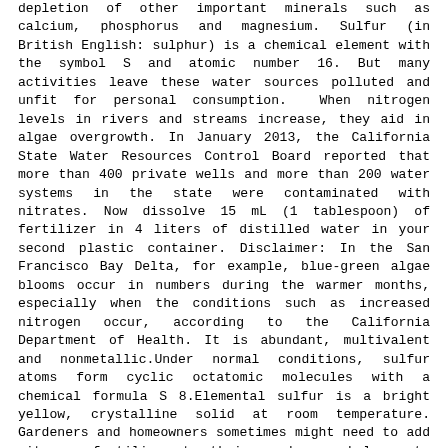depletion of other important minerals such as calcium, phosphorus and magnesium. Sulfur (in British English: sulphur) is a chemical element with the symbol S and atomic number 16. But many activities leave these water sources polluted and unfit for personal consumption. When nitrogen levels in rivers and streams increase, they aid in algae overgrowth. In January 2013, the California State Water Resources Control Board reported that more than 400 private wells and more than 200 water systems in the state were contaminated with nitrates. Now dissolve 15 mL (1 tablespoon) of fertilizer in 4 liters of distilled water in your second plastic container. Disclaimer: In the San Francisco Bay Delta, for example, blue-green algae blooms occur in numbers during the warmer months, especially when the conditions such as increased nitrogen occur, according to the California Department of Health. It is abundant, multivalent and nonmetallic.Under normal conditions, sulfur atoms form cyclic octatomic molecules with a chemical formula S 8.Elemental sulfur is a bright yellow, crystalline solid at room temperature. Gardeners and homeowners sometimes might need to add nitrogen fertilizer to their gardens and lawns to provide just the right food for their plants. Record the appearance of the pond water in your lab notebook. Overall, how would you rate the quality of this project? Phosphate-containing chemicals deliver the essential element phosphorus to plants in a readily absorbable form. You make it entertaining and you still take care of to keep it sensible. Write to us at to make sure the